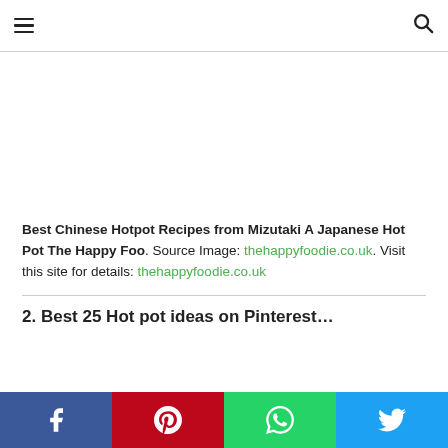≡  🔍
[Figure (other): White blank image placeholder area]
Best Chinese Hotpot Recipes from Mizutaki A Japanese Hot Pot The Happy Foo. Source Image: thehappyfoodie.co.uk. Visit this site for details: thehappyfoodie.co.uk
2. Best 25 Hot pot ideas on Pinterest…